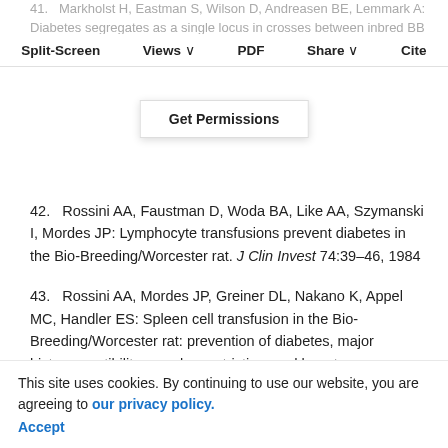41. Markholst H, Eastman S, Wilson D, Andreasen BE, Lemmark A: Diabetes segregates as a single locus in crosses between inbred BB rats prone or resistant to diabetes. J Exp Med 174:297–300, 1991
Split-Screen | Views | PDF | Share | Cite
Get Permissions
42. Rossini AA, Faustman D, Woda BA, Like AA, Szymanski I, Mordes JP: Lymphocyte transfusions prevent diabetes in the Bio-Breeding/Worcester rat. J Clin Invest 74:39–46, 1984
43. Rossini AA, Mordes JP, Greiner DL, Nakano K, Appel MC, Handler ES: Spleen cell transfusion in the Bio-Breeding/Worcester rat: prevention of diabetes, major histocompatibility complex restriction, and long-term persistence of transfused cells. J Clin Invest 77:1399–1401, 1986
This site uses cookies. By continuing to use our website, you are agreeing to our privacy policy. Accept
44. Colle E, Mordes JP, Rossini AA, et al: Immune pathogenesis of diabetes mellitus in the BB rat. Diabete Metab Rev 8:4–37, 1992